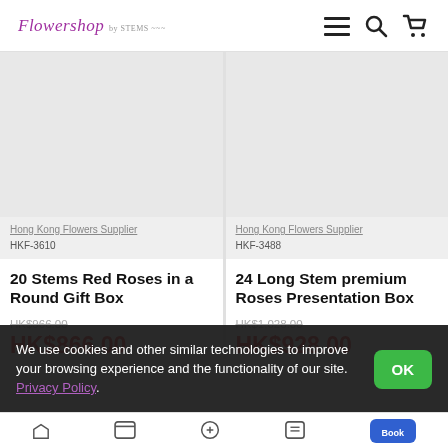[Figure (logo): Flowershop logo in purple italic text]
[Figure (screenshot): Product image area for 20 Stems Red Roses in a Round Gift Box (image not visible)]
Hong Kong Flowers Supplier
HKF-3610
20 Stems Red Roses in a Round Gift Box
HK$966.00 (original price, strikethrough)
HK$866.00 (sale price)
[Figure (screenshot): Product image area for 24 Long Stem premium Roses Presentation Box (image not visible)]
Hong Kong Flowers Supplier
HKF-3488
24 Long Stem premium Roses Presentation Box
HK$1,028.00 (original price, strikethrough)
HK$928.00 (sale price)
We use cookies and other similar technologies to improve your browsing experience and the functionality of our site. Privacy Policy.